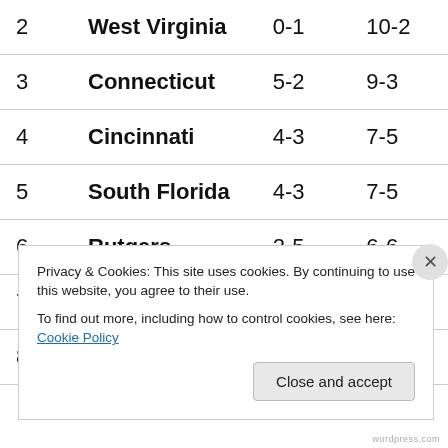| Rank | Team | Conf | Overall |
| --- | --- | --- | --- |
| 2 | West Virginia | 0-1 | 10-2 |
| 3 | Connecticut | 5-2 | 9-3 |
| 4 | Cincinnati | 4-3 | 7-5 |
| 5 | South Florida | 4-3 | 7-5 |
| 6 | Rutgers | 2-5 | 6-6 |
| 7 | Syracuse | 1-6 | 4-8 |
| 8 | Louisville | 0-7 | 3-9 |
Privacy & Cookies: This site uses cookies. By continuing to use this website, you agree to their use. To find out more, including how to control cookies, see here: Cookie Policy